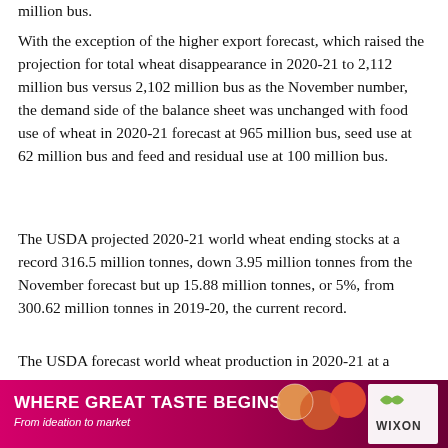million bus.
With the exception of the higher export forecast, which raised the projection for total wheat disappearance in 2020-21 to 2,112 million bus versus 2,102 million bus as the November number, the demand side of the balance sheet was unchanged with food use of wheat in 2020-21 forecast at 965 million bus, seed use at 62 million bus and feed and residual use at 100 million bus.
The USDA projected 2020-21 world wheat ending stocks at a record 316.5 million tonnes, down 3.95 million tonnes from the November forecast but up 15.88 million tonnes, or 5%, from 300.62 million tonnes in 2019-20, the current record.
The USDA forecast world wheat production in 2020-21 at a 773.66 million tonnes, up 1.28 million tonnes from
[Figure (infographic): Advertisement banner for Wixon: 'WHERE GREAT TASTE BEGINS - From ideation to market' with food images and Wixon logo on dark red/magenta background]